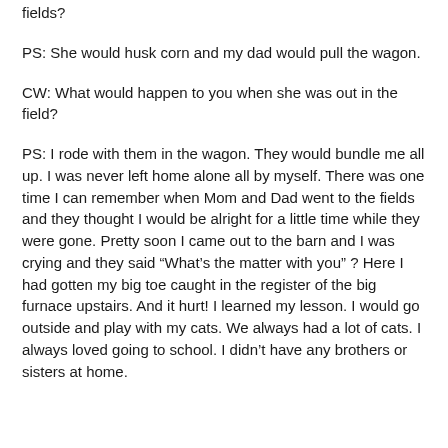fields?
PS:  She would husk corn and my dad would pull the wagon.
CW:  What would happen to you when she was out in the field?
PS:  I rode with them in the wagon. They would bundle me all up.  I was never left home alone all by myself. There was one time I can remember when Mom and Dad went to the fields and they thought I would be alright for a little time while they were gone. Pretty soon I came out to the barn and I was crying and they said “What's the matter with you” ? Here I had gotten my big toe caught in the register of the big furnace upstairs. And it hurt! I learned my lesson. I would go outside and play with my cats. We always had a lot of cats. I always loved going to school. I didn't have any brothers or sisters at home.